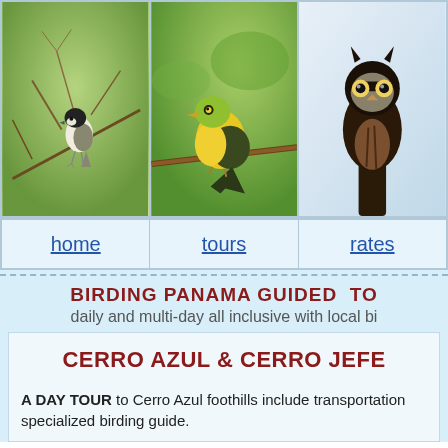[Figure (photo): Three bird photos side by side: left - small black-capped bird on a branch with green background; center - yellow and green bird on branch with green background; right - dark brown owl or similar bird against light background]
| home | tours | rates |
| --- | --- | --- |
BIRDING PANAMA GUIDED TO
daily and multi-day all inclusive with local bi
CERRO AZUL & CERRO JEFE
A DAY TOUR to Cerro Azul foothills include transportation specialized birding guide.